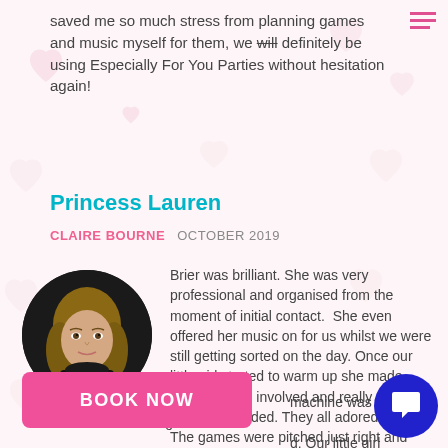saved me so much stress from planning games and music myself for them, we will definitely be using Especially For You Parties without hesitation again!
Princess Lauren
CLAIRE BOURNE  OCTOBER 2019
[Figure (photo): Circular profile photo of a young woman with long wavy blonde hair wearing a black turtleneck, against a dark background.]
Brier was brilliant. She was very professional and organised from the moment of initial contact.  She even offered her music on for us whilst we were still getting sorted on the day. Once our little girl started to warm up she made sure she was involved and really got all the kids included. They all adored her.
The games were pitched just right and she adapted as needed. The addition of the machine was brilliant and thoroughly enjoyed. Our little girl was over the moon she came to her party and is more than thrilled that she gets to keep her actual
BOOK NOW